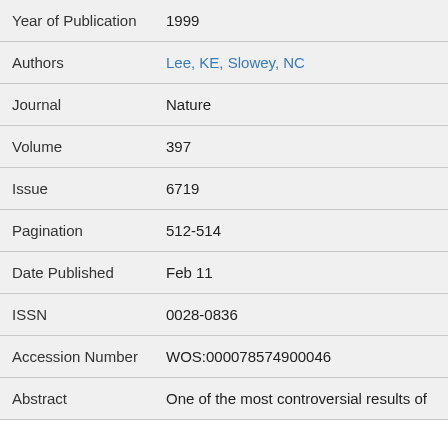| Field | Value |
| --- | --- |
| Year of Publication | 1999 |
| Authors | Lee, KE, Slowey, NC |
| Journal | Nature |
| Volume | 397 |
| Issue | 6719 |
| Pagination | 512-514 |
| Date Published | Feb 11 |
| ISSN | 0028-0836 |
| Accession Number | WOS:000078574900046 |
| Abstract | One of the most controversial results of |